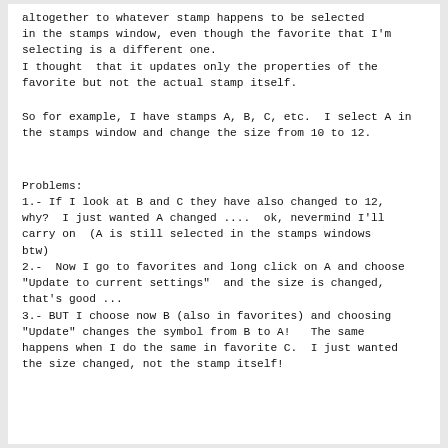altogether to whatever stamp happens to be selected in the stamps window, even though the favorite that I'm selecting is a different one.
I thought  that it updates only the properties of the favorite but not the actual stamp itself.
So for example, I have stamps A, B, C, etc.  I select A in the stamps window and change the size from 10 to 12.
Problems:
1.- If I look at B and C they have also changed to 12, why?  I just wanted A changed ....  ok, nevermind I'll carry on  (A is still selected in the stamps windows btw)
2.-  Now I go to favorites and long click on A and choose "Update to current settings"  and the size is changed, that's good ...
3.- BUT I choose now B (also in favorites) and choosing "Update" changes the symbol from B to A!   The same happens when I do the same in favorite C.  I just wanted the size changed, not the stamp itself!